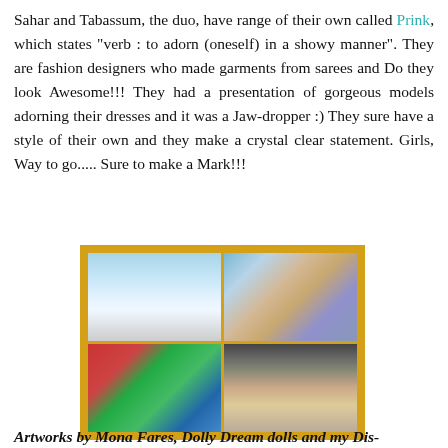Sahar and Tabassum, the duo, have range of their own called Prink, which states "verb : to adorn (oneself) in a showy manner". They are fashion designers who made garments from sarees and Do they look Awesome!!! They had a presentation of gorgeous models adorning their dresses and it was a Jaw-dropper :) They sure have a style of their own and they make a crystal clear statement. Girls, Way to go..... Sure to make a Mark!!!
[Figure (photo): A collage of four photos in a yellow border frame: top-left shows blue fabric/garments display, top-right shows colorful handmade dolls or art figures, bottom-left shows colorful artwork/painting with red and green design, bottom-right shows three women posing together.]
Artworks by Mona Fares, Dolly Dream dolls and my Dis-